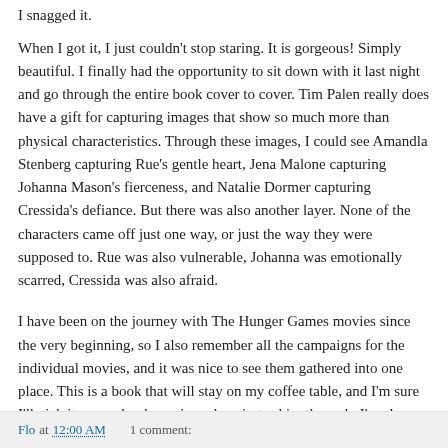I snagged it.
When I got it, I just couldn't stop staring. It is gorgeous! Simply beautiful. I finally had the opportunity to sit down with it last night and go through the entire book cover to cover. Tim Palen really does have a gift for capturing images that show so much more than physical characteristics. Through these images, I could see Amandla Stenberg capturing Rue's gentle heart, Jena Malone capturing Johanna Mason's fierceness, and Natalie Dormer capturing Cressida's defiance. But there was also another layer. None of the characters came off just one way, or just the way they were supposed to. Rue was also vulnerable, Johanna was emotionally scarred, Cressida was also afraid.
I have been on the journey with The Hunger Games movies since the very beginning, so I also remember all the campaigns for the individual movies, and it was nice to see them gathered into one place. This is a book that will stay on my coffee table, and I'm sure I'll pick it up randomly again and again to skim through. I'm also sure my guests will enjoy admiring it as well.
Flo at 12:00 AM    1 comment: